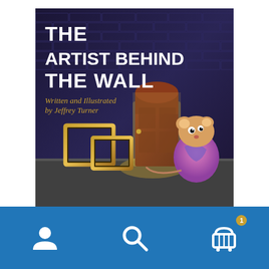[Figure (illustration): Book cover for 'The Artist Behind The Wall' written and illustrated by Jeffrey Turner. Shows a cartoon mouse (pink/purple colored) standing near a wooden arched door set in a dark brick wall. Several ornate empty picture frames are propped against the wall. Large bold white text reads 'THE ARTIST BEHIND THE WALL' with golden italic text 'Written and Illustrated by Jeffrey Turner' below.]
[Figure (screenshot): Blue navigation bar at bottom with three icons: user/person icon on left, magnifying glass/search icon in center, and shopping cart icon with badge showing '1' on right.]